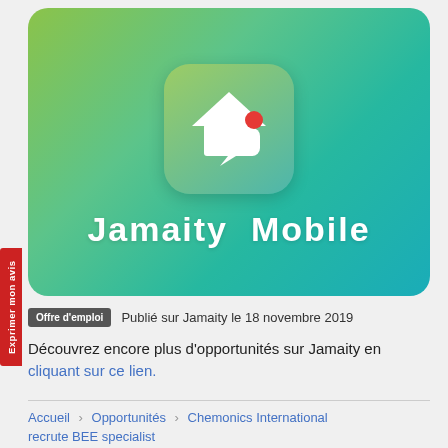[Figure (logo): Jamaity Mobile app logo banner — green to teal gradient background with white house and speech bubble icon with red notification dot, large white text 'Jamaity Mobile' below the icon]
Offre d'emploi   Publié sur Jamaity le 18 novembre 2019
Découvrez encore plus d'opportunités sur Jamaity en cliquant sur ce lien.
Accueil > Opportunités > Chemonics International recrute BEE specialist